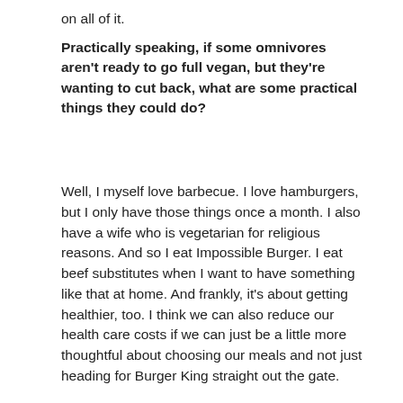on all of it.
Practically speaking, if some omnivores aren't ready to go full vegan, but they're wanting to cut back, what are some practical things they could do?
Well, I myself love barbecue. I love hamburgers, but I only have those things once a month. I also have a wife who is vegetarian for religious reasons. And so I eat Impossible Burger. I eat beef substitutes when I want to have something like that at home. And frankly, it's about getting healthier, too. I think we can also reduce our health care costs if we can just be a little more thoughtful about choosing our meals and not just heading for Burger King straight out the gate.